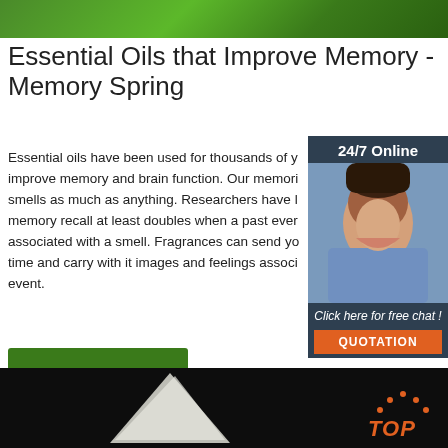[Figure (photo): Green plant leaves photo at the top of the page]
Essential Oils that Improve Memory - Memory Spring
Essential oils have been used for thousands of y... improve memory and brain function. Our memori... smells as much as anything. Researchers have l... memory recall at least doubles when a past ever... associated with a smell. Fragrances can send yo... time and carry with it images and feelings associ... event.
[Figure (photo): 24/7 Online chat widget with woman wearing headset, Click here for free chat! QUOTATION button]
[Figure (photo): Dark background image with white triangular shape and TOP logo in orange]
Get Price